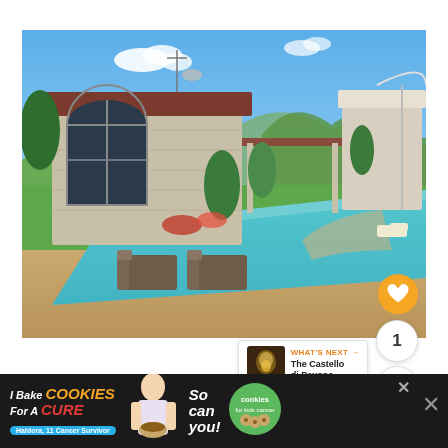[Figure (photo): Beautifully renovated country house with swimming pool in Le Marche, Italy. Stone building with arched windows, lush green garden, lounge chairs by the pool, mountains in background, blue sky with clouds.]
Beautifully renovated country house in the heart of Le Marche truffle country. Great vi... house is a...
[Figure (infographic): What's Next panel showing The Castello di Pavone - ... with thumbnail image]
[Figure (infographic): Advertisement banner: I Bake COOKIES For A CURE - Haldora, 11 Cancer Survivor. So can you! Cookies for kids cancer. Close button.]